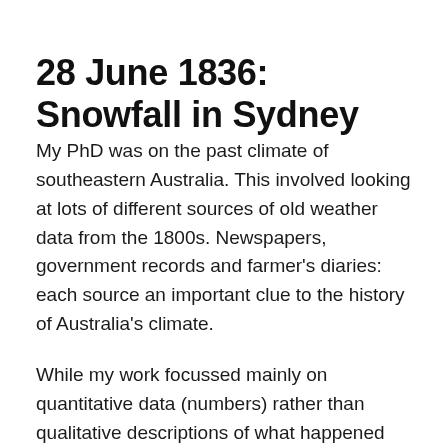28 June 1836: Snowfall in Sydney
My PhD was on the past climate of southeastern Australia. This involved looking at lots of different sources of old weather data from the 1800s. Newspapers, government records and farmer's diaries: each source an important clue to the history of Australia's climate.
While my work focussed mainly on quantitative data (numbers) rather than qualitative descriptions of what happened (words), using